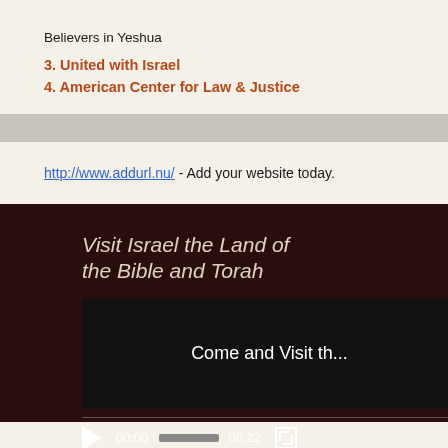Believers in Yeshua
3. United with Israel
4. American Center for Law & Justice
http://www.addurl.nu/ - Add your website today.
[Figure (screenshot): Video player with dark brown background showing 'Visit Israel the Land of the Bible and Torah' title and a video thumbnail/player showing 'Come and Visit th...' with controls showing 00:00 and 08:22]
Visit Israel the Land of the Bible and Torah
Come and Visit th...
00:00  08:22